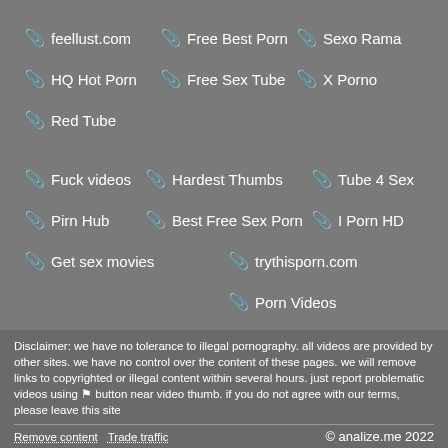feellust.com
Free Best Porn
Sexo Rama
HQ Hot Porn
Free Sex Tube
X Porno
Red Tube
Fuck videos
Hardest Thumbs
Tube 4 Sex
Pirn Hub
Best Free Sex Porn
I Porn HD
Get sex movies
trythisporn.com
Porn Videos
Nude And Spicy
Disclaimer: we have no tolerance to illegal pornography. all videos are provided by other sites. we have no control over the content of these pages. we will remove links to copyrighted or illegal content within several hours. just report problematic videos using ⚑ button near video thumb. if you do not agree with our terms, please leave this site
Remove content   Trade traffic   © analize.me 2022